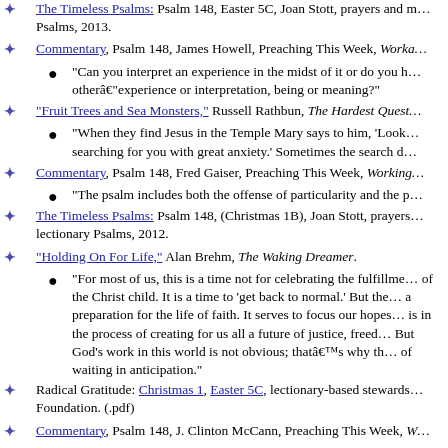The Timeless Psalms: Psalm 148, Easter 5C, Joan Stott, prayers and Psalms, 2013.
Commentary, Psalm 148, James Howell, Preaching This Week, Worka…
"Can you interpret an experience in the midst of it or do you have to be other–experience or interpretation, being or meaning?"
"Fruit Trees and Sea Monsters," Russell Rathbun, The Hardest Quest…
"When they find Jesus in the Temple Mary says to him, 'Look… searching for you with great anxiety.' Sometimes the search d…
Commentary, Psalm 148, Fred Gaiser, Preaching This Week, Working…
"The psalm includes both the offense of particularity and the p…
The Timeless Psalms: Psalm 148, (Christmas 1B), Joan Stott, prayers… lectionary Psalms, 2012.
"Holding On For Life," Alan Brehm, The Waking Dreamer.
"For most of us, this is a time not for celebrating the fulfillme… of the Christ child. It is a time to 'get back to normal.' But the… a preparation for the life of faith. It serves to focus our hopes… is in the process of creating for us all a future of justice, freed… But God's work in this world is not obvious; that's why th… of waiting in anticipation."
Radical Gratitude: Christmas 1, Easter 5C, lectionary-based stewards… Foundation. (.pdf)
Commentary, Psalm 148, J. Clinton McCann, Preaching This Week, W…
"Psalm 148 suggests that God will not properly be praised un… only all people, but also all living things and the inanimate fea…
The Timeless Psalms: Psalm 148, Joan Stott, prayers and meditations… 2010.
"Praise and Creation," Paul Bellan Boyer, City Called Heaven, 2010.